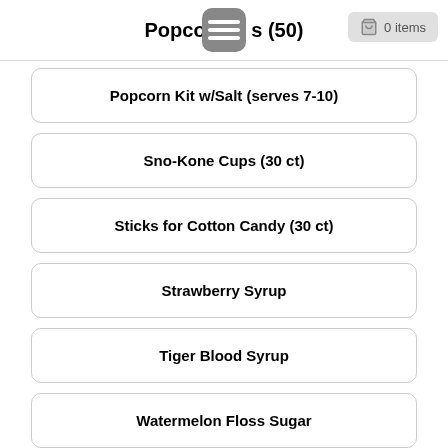Popcorn & s (50)
Popcorn Kit w/Salt (serves 7-10)
Sno-Kone Cups (30 ct)
Sticks for Cotton Candy (30 ct)
Strawberry Syrup
Tiger Blood Syrup
Watermelon Floss Sugar